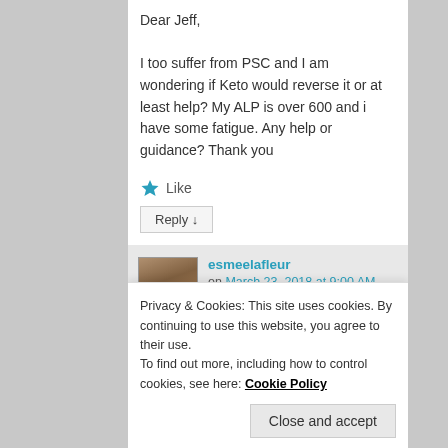Dear Jeff,
I too suffer from PSC and I am wondering if Keto would reverse it or at least help? My ALP is over 600 and i have some fatigue. Any help or guidance? Thank you
★ Like
Reply ↓
esmeelafleur on March 23, 2018 at 9:00 AM said:
Hopefully Jeff will see this and respond
Privacy & Cookies: This site uses cookies. By continuing to use this website, you agree to their use.
To find out more, including how to control cookies, see here: Cookie Policy
Close and accept